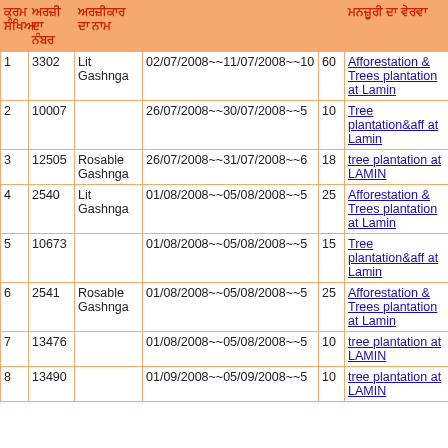| ਕ੍ਰਮ ਸੰਖਿਆ | ਅਰਜ਼ੀ ਦਾ ਨੰਬਰ | ਅਰਜ਼ੀਕਾਰ ਦਾ ਨਾਮ | ਤਾਰੀਖ਼ਾਂ ਅਤੇ ਮਿਆਦ | ਦਿਨ | ਮਨਜ਼ੂਰੀ ਦਾ ਵੇਰਵਾ |
| --- | --- | --- | --- | --- | --- |
| 1 | 3302 | Lit Gashnga | 02/07/2008~~11/07/2008~~10 | 60 | Afforestation & Trees plantation at Lamin |
| 2 | 10007 |  | 26/07/2008~~30/07/2008~~5 | 10 | Tree plantation&aff at Lamin |
| 3 | 12505 | Rosable Gashnga | 26/07/2008~~31/07/2008~~6 | 18 | tree plantation at LAMIN |
| 4 | 2540 | Lit Gashnga | 01/08/2008~~05/08/2008~~5 | 25 | Afforestation & Trees plantation at Lamin |
| 5 | 10673 |  | 01/08/2008~~05/08/2008~~5 | 15 | Tree plantation&aff at Lamin |
| 6 | 2541 | Rosable Gashnga | 01/08/2008~~05/08/2008~~5 | 25 | Afforestation & Trees plantation at Lamin |
| 7 | 13476 |  | 01/08/2008~~05/08/2008~~5 | 10 | tree plantation at LAMIN |
| 8 | 13490 |  | 01/09/2008~~05/09/2008~~5 | 10 | tree plantation at LAMIN |